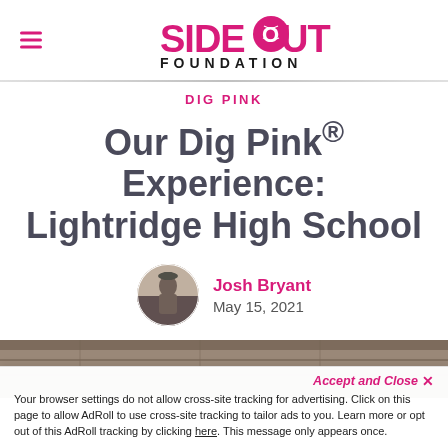Side Out Foundation — navigation header with logo
DIG PINK
Our Dig Pink® Experience: Lightridge High School
Josh Bryant — May 15, 2021
[Figure (photo): Article header photo — outdoor scene, partially visible]
Accept and Close ✕
Your browser settings do not allow cross-site tracking for advertising. Click on this page to allow AdRoll to use cross-site tracking to tailor ads to you. Learn more or opt out of this AdRoll tracking by clicking here. This message only appears once.